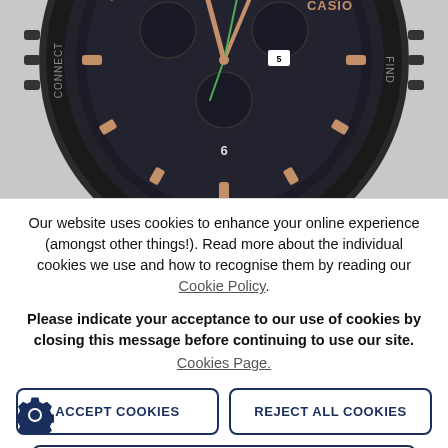[Figure (photo): Casio G-Shock watch with dark face, rose gold accents, green second hand, chronograph dials, showing CONNECT and FIND text on bezel]
Our website uses cookies to enhance your online experience (amongst other things!). Read more about the individual cookies we use and how to recognise them by reading our Cookie Policy.
Please indicate your acceptance to our use of cookies by closing this message before continuing to use our site. Cookies Page.
ACCEPT COOKIES
REJECT ALL COOKIES
MANAGE PREFERENCES